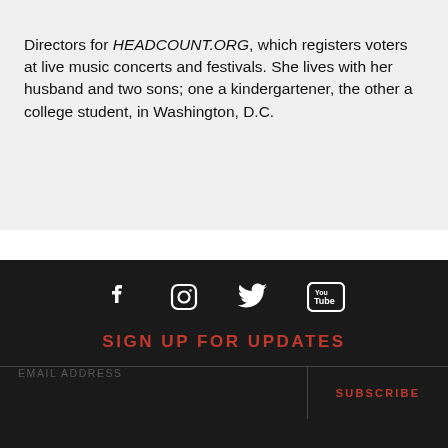Directors for HEADCOUNT.ORG, which registers voters at live music concerts and festivals. She lives with her husband and two sons; one a kindergartener, the other a college student, in Washington, D.C.
[Figure (infographic): Social media icons row: Facebook, Instagram, Twitter, YouTube on dark background]
SIGN UP FOR UPDATES
EMAIL ADDRESS | SUBSCRIBE